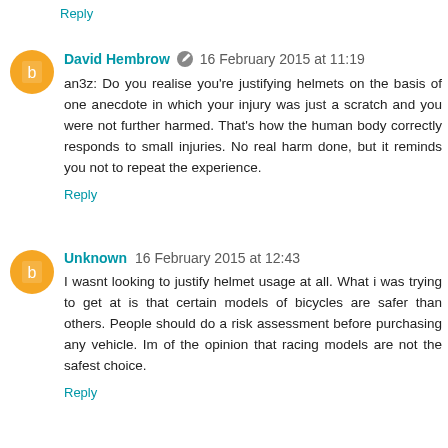Reply
David Hembrow  16 February 2015 at 11:19
an3z: Do you realise you're justifying helmets on the basis of one anecdote in which your injury was just a scratch and you were not further harmed. That's how the human body correctly responds to small injuries. No real harm done, but it reminds you not to repeat the experience.
Reply
Unknown 16 February 2015 at 12:43
I wasnt looking to justify helmet usage at all. What i was trying to get at is that certain models of bicycles are safer than others. People should do a risk assessment before purchasing any vehicle. Im of the opinion that racing models are not the safest choice.
Reply